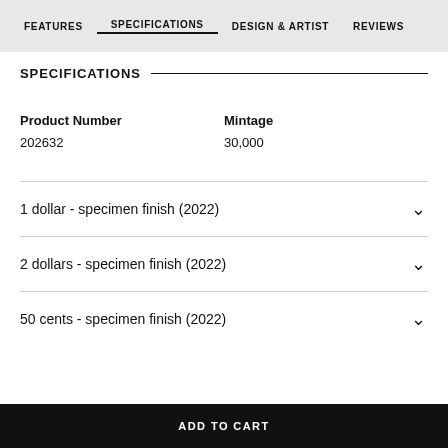FEATURES   SPECIFICATIONS   DESIGN & ARTIST   REVIEWS
SPECIFICATIONS
| Product Number | Mintage |
| --- | --- |
| 202632 | 30,000 |
1 dollar - specimen finish (2022)
2 dollars - specimen finish (2022)
50 cents - specimen finish (2022)
ADD TO CART